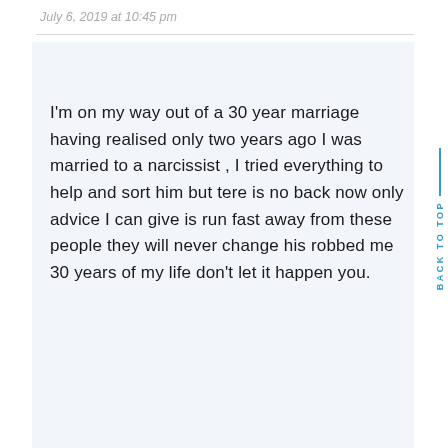July 6, 2019 at 10:45 pm
I'm on my way out of a 30 year marriage having realised only two years ago I was married to a narcissist , I tried everything to help and sort him but tere is no back now only advice I can give is run fast away from these people they will never change his robbed me 30 years of my life don't let it happen you.
Reply
BACK TO TOP
Janet